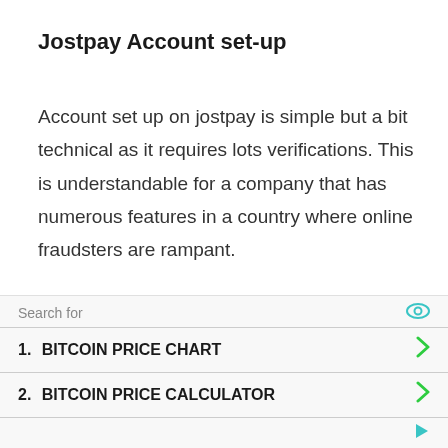Jostpay Account set-up
Account set up on jostpay is simple but a bit technical as it requires lots verifications. This is understandable for a company that has numerous features in a country where online fraudsters are rampant.
But with the security features put in place by jostpay, it'll be extremely difficult for an outsider to hack any account with this platform...
[Figure (other): Advertisement overlay with search bar showing 'Search for' with eye icon, two result rows: 1. BITCOIN PRICE CHART with green chevron, 2. BITCOIN PRICE CALCULATOR with green chevron, and a footer with a play/ad icon.]